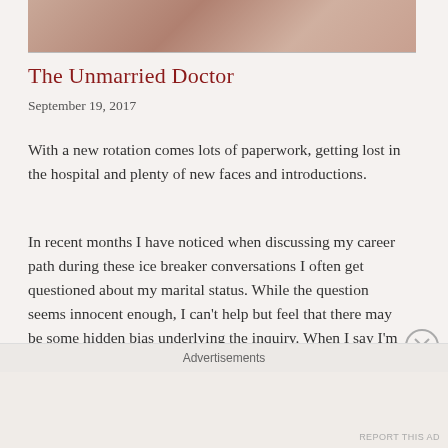[Figure (photo): Partial photo strip at top showing what appears to be a ring or watch, blurred/cropped]
The Unmarried Doctor
September 19, 2017
With a new rotation comes lots of paperwork, getting lost in the hospital and plenty of new faces and introductions.
In recent months I have noticed when discussing my career path during these ice breaker conversations I often get questioned about my marital status. While the question seems innocent enough, I can't help but feel that there may be some hidden bias underlying the inquiry. When I say I'm unmarried, I often get praised for putting my career first. I can't help but notice my
Advertisements